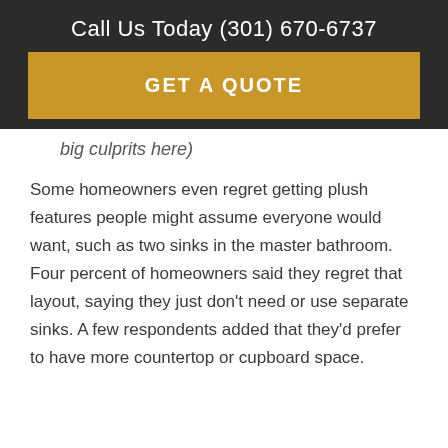Call Us Today (301) 670-6737
[Figure (other): Golden 'GET A QUOTE' call-to-action button on dark background]
big culprits here)
Some homeowners even regret getting plush features people might assume everyone would want, such as two sinks in the master bathroom. Four percent of homeowners said they regret that layout, saying they just don't need or use separate sinks. A few respondents added that they'd prefer to have more countertop or cupboard space.